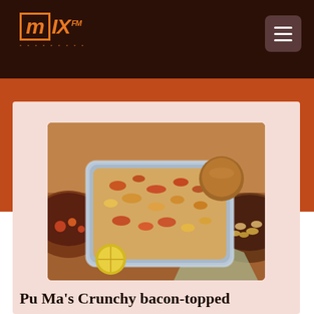MIX FM
[Figure (photo): Overhead photo of a casserole dish filled with crunchy bacon-topped food (likely mac and cheese or potato bake), surrounded by other dishes on a wooden surface]
Pu Ma's Crunchy bacon-topped